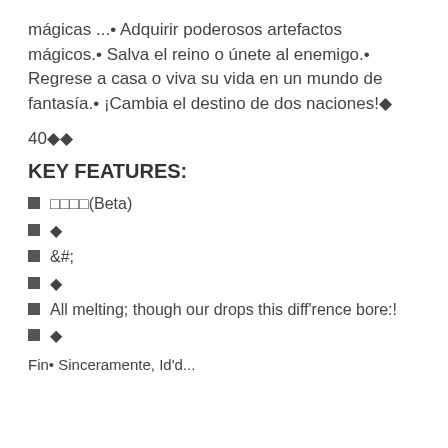mágicas ...• Adquirir poderosos artefactos mágicos.• Salva el reino o únete al enemigo.• Regrese a casa o viva su vida en un mundo de fantasía.• ¡Cambia el destino de dos naciones!◆
40◆◆
KEY FEATURES:
□□□□(Beta)
◆
&#;
◆
All melting; though our drops this diff'rence bore:!
◆
Fin• Sinceramente, Id'd...